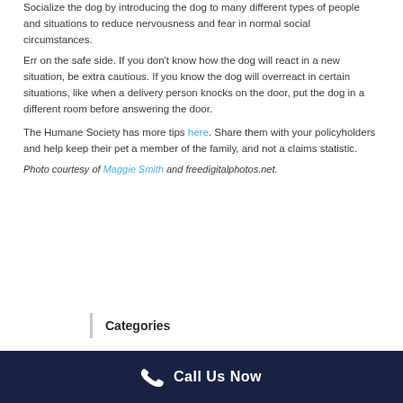Socialize the dog by introducing the dog to many different types of people and situations to reduce nervousness and fear in normal social circumstances.
Err on the safe side. If you don't know how the dog will react in a new situation, be extra cautious. If you know the dog will overreact in certain situations, like when a delivery person knocks on the door, put the dog in a different room before answering the door.
The Humane Society has more tips here. Share them with your policyholders and help keep their pet a member of the family, and not a claims statistic.
Photo courtesy of Maggie Smith and freedigitalphotos.net.
Categories
Call Us Now